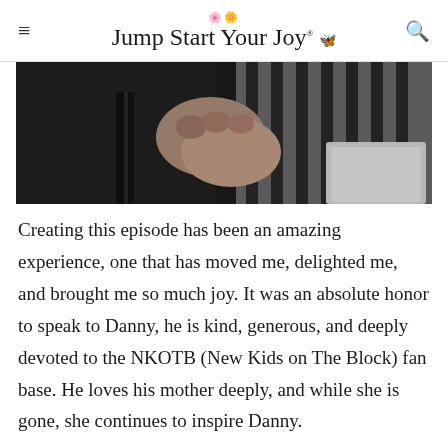Jump Start Your Joy
[Figure (photo): Close-up photo of hands clasped together, one person wearing a dark jacket and another wearing a striped black and white shirt]
Creating this episode has been an amazing experience, one that has moved me, delighted me, and brought me so much joy. It was an absolute honor to speak to Danny, he is kind, generous, and deeply devoted to the NKOTB (New Kids on The Block) fan base. He loves his mother deeply, and while she is gone, she continues to inspire Danny.